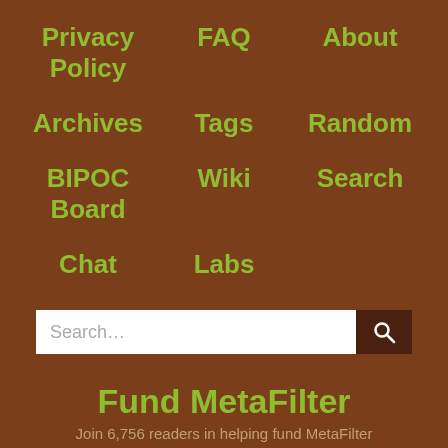Privacy Policy
FAQ
About
Archives
Tags
Random
BIPOC Board
Wiki
Search
Chat
Labs
Fund MetaFilter
Join 6,756 readers in helping fund MetaFilter
Contact Us